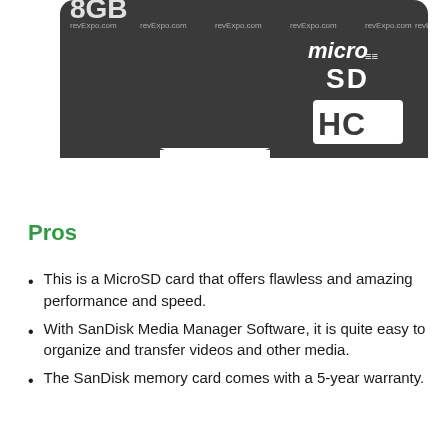[Figure (photo): A dark grey MicroSD HC memory card shown against a white background. The card has 'microSD HC' branding with the microSD logo in the upper right corner. Multiple 'revExpo.com' watermarks are visible across the card.]
Pros
This is a MicroSD card that offers flawless and amazing performance and speed.
With SanDisk Media Manager Software, it is quite easy to organize and transfer videos and other media.
The SanDisk memory card comes with a 5-year warranty.